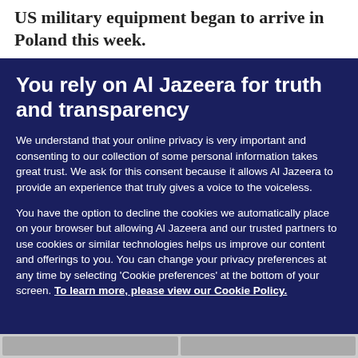US military equipment began to arrive in Poland this week.
You rely on Al Jazeera for truth and transparency
We understand that your online privacy is very important and consenting to our collection of some personal information takes great trust. We ask for this consent because it allows Al Jazeera to provide an experience that truly gives a voice to the voiceless.
You have the option to decline the cookies we automatically place on your browser but allowing Al Jazeera and our trusted partners to use cookies or similar technologies helps us improve our content and offerings to you. You can change your privacy preferences at any time by selecting ‘Cookie preferences’ at the bottom of your screen. To learn more, please view our Cookie Policy.